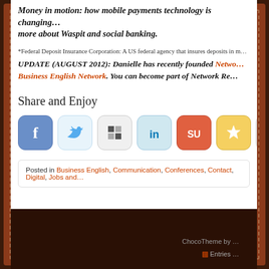Money in motion: how mobile payments technology is changing... more about Waspit and social banking.
*Federal Deposit Insurance Corporation: A US federal agency that insures deposits in m...
UPDATE (AUGUST 2012): Danielle has recently founded Netwo... Business English Network. You can become part of Network Re...
Share and Enjoy
[Figure (other): Row of social media sharing icons: Facebook, Twitter, Delicious, LinkedIn, StumbleUpon, Favorites/Star, Email, RSS feed]
Posted in Business English, Communication, Conferences, Contact, Digital, Jobs and...
ChocoTheme by ... Entries ...